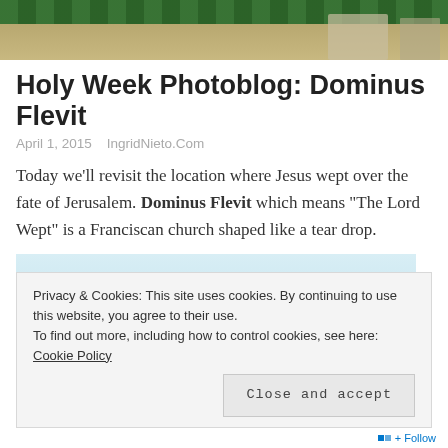[Figure (photo): Top banner photo showing a market or outdoor scene with green tarp/shade netting and stone buildings]
Holy Week Photoblog: Dominus Flevit
April 1, 2015   IngridNieto.Com
Today we'll revisit the location where Jesus wept over the fate of Jerusalem. Dominus Flevit which means "The Lord Wept" is a Franciscan church shaped like a tear drop.
[Figure (photo): Photo of a church dome with a cross on top against a pale blue sky — the Dominus Flevit church]
Privacy & Cookies: This site uses cookies. By continuing to use this website, you agree to their use. To find out more, including how to control cookies, see here: Cookie Policy
Close and accept